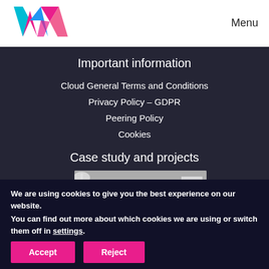[Figure (logo): VXA company logo with colorful geometric W and A shapes in blue, pink, and magenta]
Menu
Important information
Cloud General Terms and Conditions
Privacy Policy – GDPR
Peering Policy
Cookies
Case study and projects
[Figure (photo): Group of people standing in an office/exhibition space]
We are using cookies to give you the best experience on our website.
You can find out more about which cookies we are using or switch them off in settings.
Accept  Reject